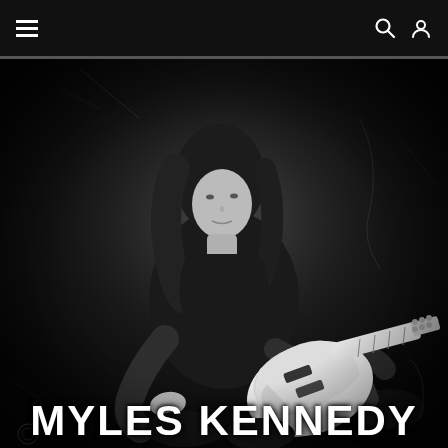Navigation bar with hamburger menu, search icon, and user icon
[Figure (photo): Black and white photograph of Myles Kennedy playing an electric guitar, seated on the ground against a dark distressed background. The subject has long hair and is wearing dark clothing, playing a white electric guitar.]
MYLES KENNEDY